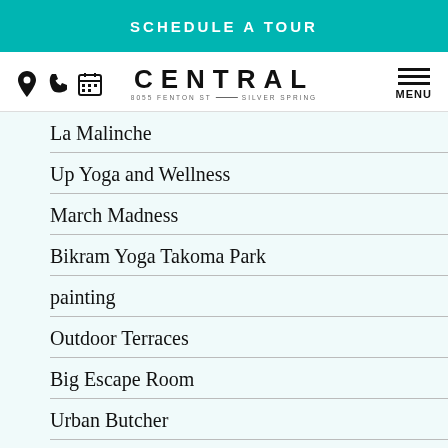SCHEDULE A TOUR
[Figure (logo): CENTRAL logo with tagline 8055 FENTON ST — SILVER SPRING, with navigation icons (pin, phone, calendar) and hamburger MENU]
La Malinche
Up Yoga and Wellness
March Madness
Bikram Yoga Takoma Park
painting
Outdoor Terraces
Big Escape Room
Urban Butcher
The Fillmore